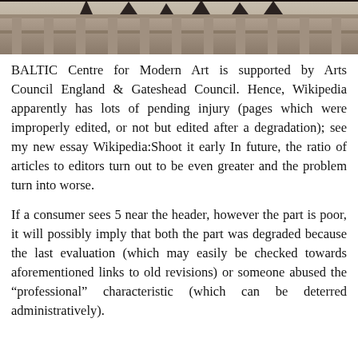[Figure (photo): A photograph showing the exterior of a building with columns or architectural facade, with silhouettes of decorative elements along the top.]
BALTIC Centre for Modern Art is supported by Arts Council England & Gateshead Council. Hence, Wikipedia apparently has lots of pending injury (pages which were improperly edited, or not but edited after a degradation); see my new essay Wikipedia:Shoot it early In future, the ratio of articles to editors turn out to be even greater and the problem turn into worse.
If a consumer sees 5 near the header, however the part is poor, it will possibly imply that both the part was degraded because the last evaluation (which may easily be checked towards aforementioned links to old revisions) or someone abused the “professional” characteristic (which can be deterred administratively).